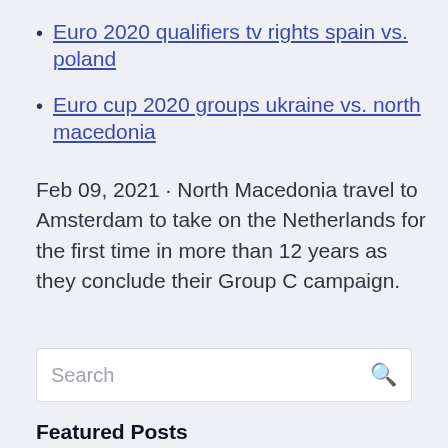Euro 2020 qualifiers tv rights spain vs. poland
Euro cup 2020 groups ukraine vs. north macedonia
Feb 09, 2021 · North Macedonia travel to Amsterdam to take on the Netherlands for the first time in more than 12 years as they conclude their Group C campaign.
Search
Featured Posts